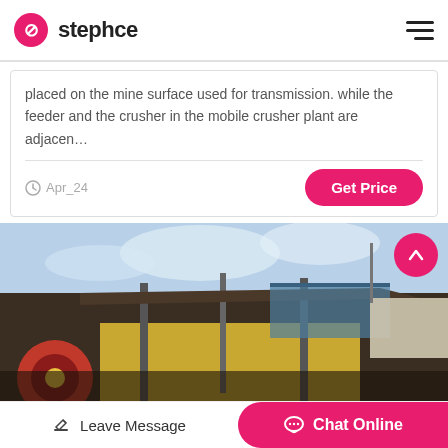stephce
placed on the mine surface used for transmission. while the feeder and the crusher in the mobile crusher plant are adjacen…
Apr_24
Get Price
[Figure (photo): Photograph of a mobile crusher plant showing a jaw crusher with a red flywheel, metal frame structure, and yellow body against a bright sky. Industrial mining equipment outdoors.]
Leave Message
Chat Online